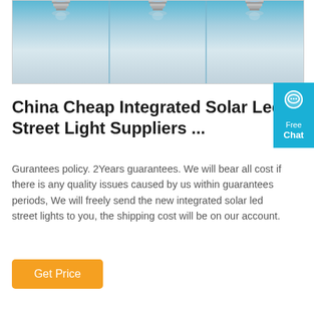[Figure (photo): Three LED light bulbs with metal screw bases arranged in a row against a light blue and grey reflective background, with their reflections visible below.]
China Cheap Integrated Solar Led Street Light Suppliers ...
Gurantees policy. 2Years guarantees. We will bear all cost if there is any quality issues caused by us within guarantees periods, We will freely send the new integrated solar led street lights to you, the shipping cost will be on our account.
Get Price